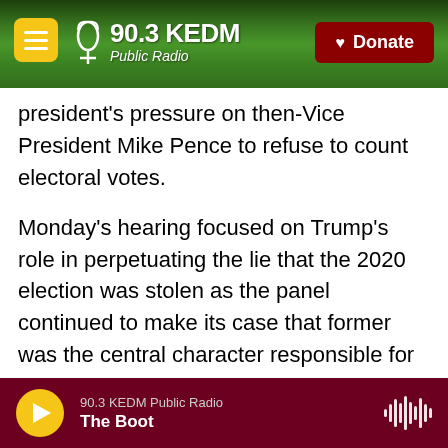90.3 KEDM Public Radio
president's pressure on then-Vice President Mike Pence to refuse to count electoral votes.
Monday's hearing focused on Trump's role in perpetuating the lie that the 2020 election was stolen as the panel continued to make its case that former was the central character responsible for what happened on Jan. 6. Witness testimony and recorded interviews presented by the committee showed that many Trump advisers knew the election wasn't stolen and told him so, but he ignored them. Instead, he listened to those in his inner circle, like Rudy Giuliani, who urged him to
90.3 KEDM Public Radio | The Boot